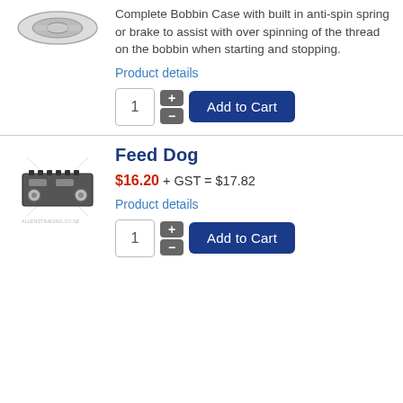Complete Bobbin Case with built in anti-spin spring or brake to assist with over spinning of the thread on the bobbin when starting and stopping.
Product details
Feed Dog
$16.20 + GST = $17.82
Product details